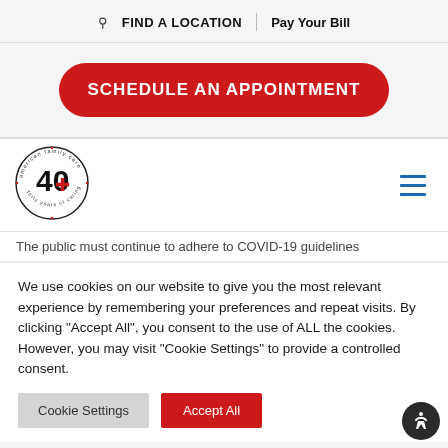FIND A LOCATION | Pay Your Bill
SCHEDULE AN APPOINTMENT
[Figure (logo): American Family Care 40 Years of Caring circular logo]
The public must continue to adhere to COVID-19 guidelines
We use cookies on our website to give you the most relevant experience by remembering your preferences and repeat visits. By clicking "Accept All", you consent to the use of ALL the cookies. However, you may visit "Cookie Settings" to provide a controlled consent.
Cookie Settings  Accept All